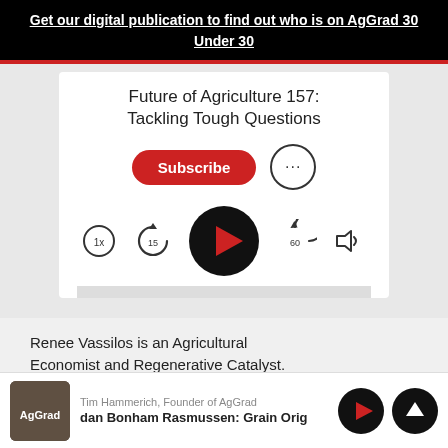Get our digital publication to find out who is on AgGrad 30 Under 30
[Figure (screenshot): Podcast player card showing 'Future of Agriculture 157: Tackling Tough Questions' with Subscribe button, more options button, playback speed 1x, skip back 15, play button, skip forward 60, and volume controls]
Renee Vassilos is an Agricultural Economist and Regenerative Catalyst. She is the Founder of Banyan
[Figure (screenshot): Bottom playback bar with AgGrad thumbnail, Tim Hammerich Founder of AgGrad label, episode title 'dan Bonham Rasmussen: Grain Orig', play button and scroll-up button]